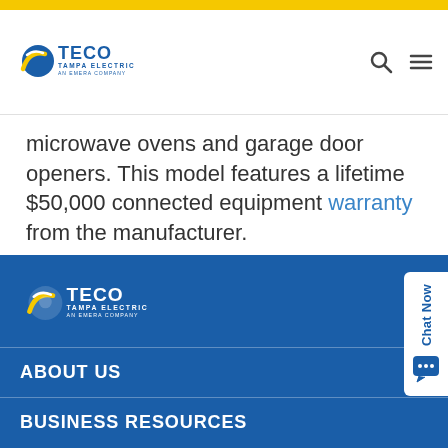TECO Tampa Electric An Emera Company
microwave ovens and garage door openers. This model features a lifetime $50,000 connected equipment warranty from the manufacturer.
ORDER BASIC PACKAGE
[Figure (logo): TECO Tampa Electric An Emera Company logo in white on blue footer background]
ABOUT US
BUSINESS RESOURCES